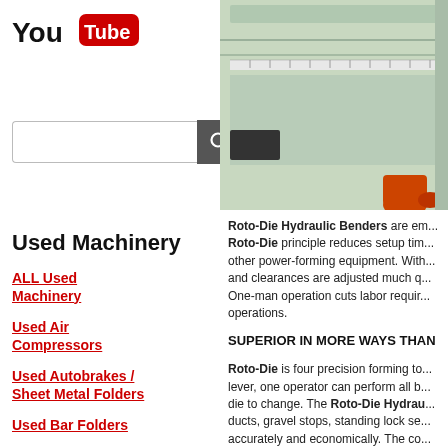[Figure (logo): YouTube logo with red and white branding]
[Figure (other): Search bar input field with magnifying glass search button]
Used Machinery
ALL Used Machinery
Used Air Compressors
Used Autobrakes / Sheet Metal Folders
Used Bar Folders
Used Sheet Metal Brakes
Used Cheek
[Figure (photo): Green Roto-Die hydraulic bending machine, partial view showing upper portion]
Roto-Die Hydraulic Benders are em... Roto-Die principle reduces setup tim... other power-forming equipment. With... and clearances are adjusted much q... One-man operation cuts labor requir... operations.
SUPERIOR IN MORE WAYS THAN
Roto-Die is four precision forming to... lever, one operator can perform all b... die to change. The Roto-Die Hydrau... ducts, gravel stops, standing lock se... accurately and economically. The co... design permits acute reverse bends ... machines. The Roto-Die Hydraulic ... all forming stations. Automatic deten... Centerline machined upper dies are...